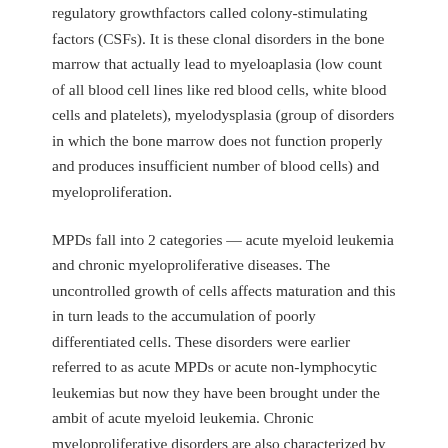regulatory growthfactors called colony-stimulating factors (CSFs). It is these clonal disorders in the bone marrow that actually lead to myeloaplasia (low count of all blood cell lines like red blood cells, white blood cells and platelets), myelodysplasia (group of disorders in which the bone marrow does not function properly and produces insufficient number of blood cells) and myeloproliferation.
MPDs fall into 2 categories — acute myeloid leukemia and chronic myeloproliferative diseases. The uncontrolled growth of cells affects maturation and this in turn leads to the accumulation of poorly differentiated cells. These disorders were earlier referred to as acute MPDs or acute non-lymphocytic leukemias but now they have been brought under the ambit of acute myeloid leukemia. Chronic myeloproliferative disorders are also characterized by unregulated proliferation of cells that lead to the